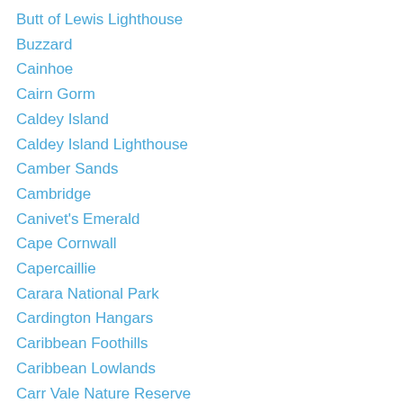Butt of Lewis Lighthouse
Buzzard
Cainhoe
Cairn Gorm
Caldey Island
Caldey Island Lighthouse
Camber Sands
Cambridge
Canivet's Emerald
Cape Cornwall
Capercaillie
Carara National Park
Cardington Hangars
Caribbean Foothills
Caribbean Lowlands
Carr Vale Nature Reserve
Caspian Gull
Caspian Tern
Cattle Egret
Cavenham Heath